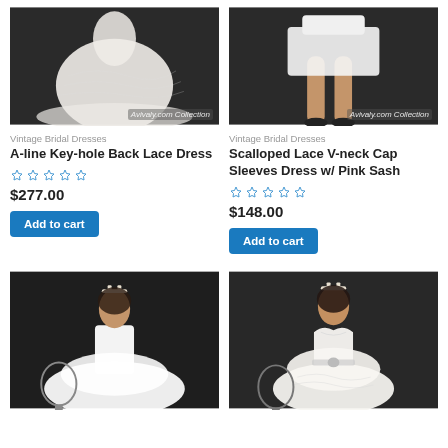[Figure (photo): Wedding dress with lace train on dark background, Avivaly.com Collection watermark]
Vintage Bridal Dresses
A-line Key-hole Back Lace Dress
★★★★★ (0 ratings)
$277.00
Add to cart
[Figure (photo): Short wedding dress with model legs visible, Avivaly.com Collection watermark]
Vintage Bridal Dresses
Scalloped Lace V-neck Cap Sleeves Dress w/ Pink Sash
★★★★★ (0 ratings)
$148.00
Add to cart
[Figure (photo): Bride in white ball gown with tulle skirt and tiara, dark background]
[Figure (photo): Bride in strapless lace gown with belt and tiara, dark background]